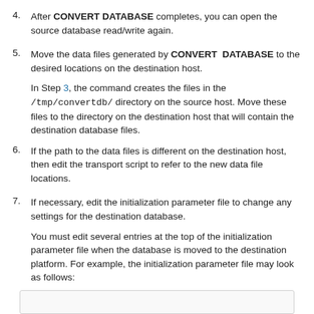4. After CONVERT DATABASE completes, you can open the source database read/write again.
5. Move the data files generated by CONVERT DATABASE to the desired locations on the destination host.
In Step 3, the command creates the files in the /tmp/convertdb/ directory on the source host. Move these files to the directory on the destination host that will contain the destination database files.
6. If the path to the data files is different on the destination host, then edit the transport script to refer to the new data file locations.
7. If necessary, edit the initialization parameter file to change any settings for the destination database.
You must edit several entries at the top of the initialization parameter file when the database is moved to the destination platform. For example, the initialization parameter file may look as follows:
[Figure (other): Code box (partially visible, bottom of page)]